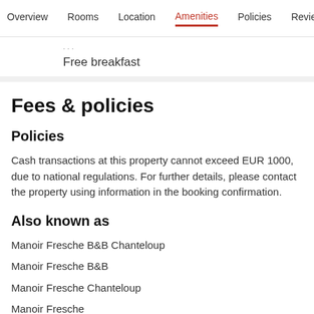Overview  Rooms  Location  Amenities  Policies  Reviews
Free breakfast
Fees & policies
Policies
Cash transactions at this property cannot exceed EUR 1000, due to national regulations. For further details, please contact the property using information in the booking confirmation.
Also known as
Manoir Fresche B&B Chanteloup
Manoir Fresche B&B
Manoir Fresche Chanteloup
Manoir Fresche